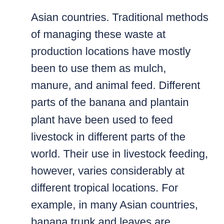Asian countries. Traditional methods of managing these waste at production locations have mostly been to use them as mulch, manure, and animal feed. Different parts of the banana and plantain plant have been used to feed livestock in different parts of the world. Their use in livestock feeding, however, varies considerably at different tropical locations. For example, in many Asian countries, banana trunk and leaves are processed into pig and ruminant feeds, while in Africa it is common practice to feed the fresh leaves to ruminants. In places where banana fiber extraction technology has not developed, processing the pseudo-stem, and the leaves into animal feeds as a cheap waste conservation technology has high prospects. Studies on direct substitution